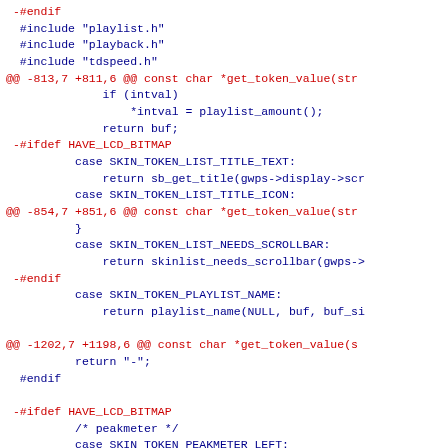Code diff showing removed lines (red) and context lines (dark blue) for a C source file including playlist.h, playback.h, tdspeed.h with diff hunks at lines -813,7 +811,6, -854,7 +851,6, -1202,7 +1198,6, -1218,7 +1213,6 involving SKIN_TOKEN_LIST_TITLE_TEXT, SKIN_TOKEN_LIST_NEEDS_SCROLLBAR, HAVE_LCD_BITMAP, SKIN_TOKEN_PLAYLIST_NAME, SKIN_TOKEN_PEAKMETER_LEFT, SKIN_TOKEN_PEAKMETER_RIGHT